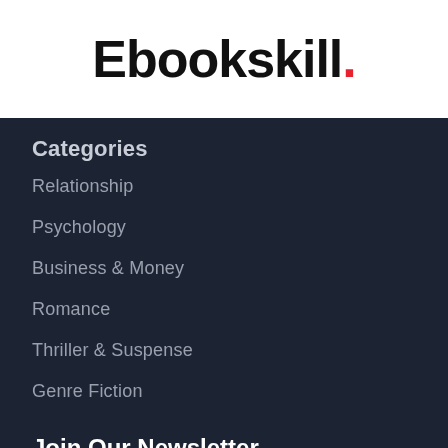Ebookskill.
Categories
Relationship
Psychology
Business & Money
Romance
Thriller & Suspense
Genre Fiction
Join Our Newsletter
Signup to be the first to hear about exclusive deals, special